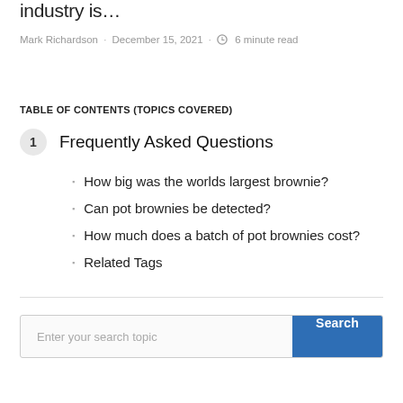industry is…
Mark Richardson · December 15, 2021 · 🕐 6 minute read
TABLE OF CONTENTS (TOPICS COVERED)
1  Frequently Asked Questions
How big was the worlds largest brownie?
Can pot brownies be detected?
How much does a batch of pot brownies cost?
Related Tags
Enter your search topic  Search